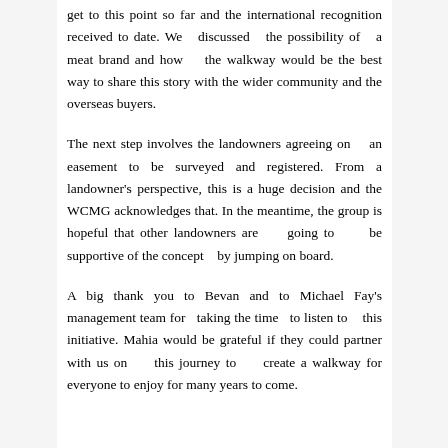get to this point so far and the international recognition received to date. We discussed the possibility of a meat brand and how the walkway would be the best way to share this story with the wider community and the overseas buyers.
The next step involves the landowners agreeing on an easement to be surveyed and registered. From a landowner's perspective, this is a huge decision and the WCMG acknowledges that. In the meantime, the group is hopeful that other landowners are going to be supportive of the concept by jumping on board.
A big thank you to Bevan and to Michael Fay's management team for taking the time to listen to this initiative. Mahia would be grateful if they could partner with us on this journey to create a walkway for everyone to enjoy for many years to come.